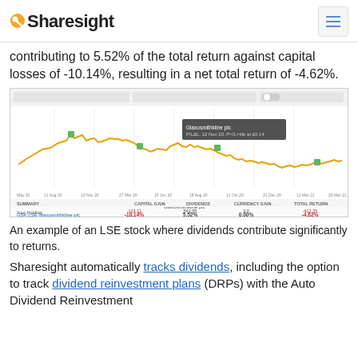Sharesight
contributing to 5.52% of the total return against capital losses of -10.14%, resulting in a net total return of -4.62%.
[Figure (continuous-plot): Sharesight portfolio performance chart showing GSK LSE Glaxosmithkline plc stock price over time (yellow/gold line chart) with green markers. Summary table below showing: Capital Gain -10.14%, Dividends 5.52%, Currency Gain 0.00%, Total Return -4.62%.]
An example of an LSE stock where dividends contribute significantly to returns.
Sharesight automatically tracks dividends, including the option to track dividend reinvestment plans (DRPs) with the Auto Dividend Reinvestment